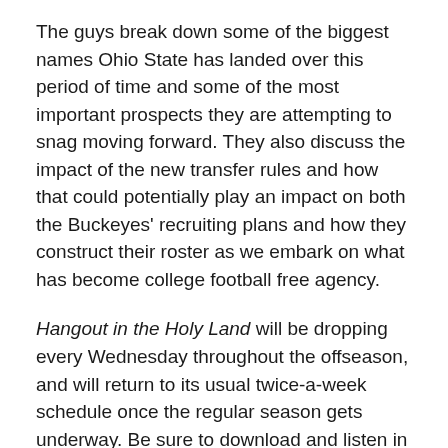The guys break down some of the biggest names Ohio State has landed over this period of time and some of the most important prospects they are attempting to snag moving forward. They also discuss the impact of the new transfer rules and how that could potentially play an impact on both the Buckeyes' recruiting plans and how they construct their roster as we embark on what has become college football free agency.
Hangout in the Holy Land will be dropping every Wednesday throughout the offseason, and will return to its usual twice-a-week schedule once the regular season gets underway. Be sure to download and listen in wherever you get your podcasts, and leave us a review on Apple to let us know your thoughts and how we can make things even better!